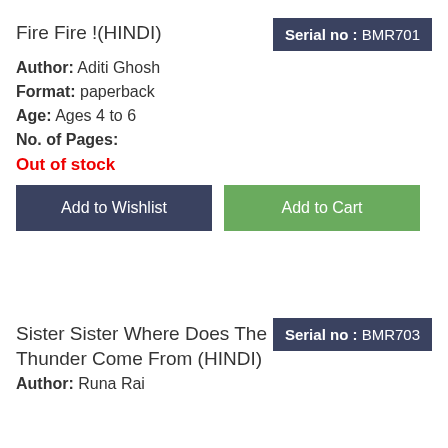Fire Fire !(HINDI)
Serial no : BMR701
Author: Aditi Ghosh
Format: paperback
Age: Ages 4 to 6
No. of Pages:
Out of stock
Add to Wishlist
Add to Cart
Sister Sister Where Does The Thunder Come From (HINDI)
Serial no : BMR703
Author: Runa Rai